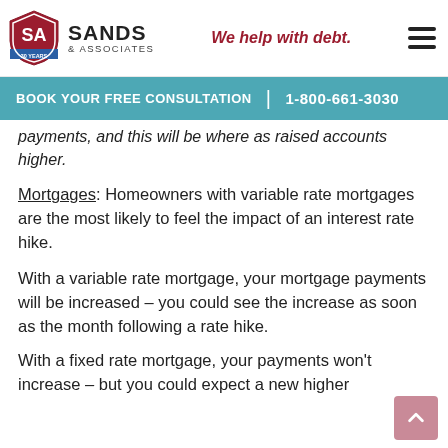Sands & Associates — We help with debt.
BOOK YOUR FREE CONSULTATION | 1-800-661-3030
payments, and this will be where as raised accounts higher.
Mortgages: Homeowners with variable rate mortgages are the most likely to feel the impact of an interest rate hike.
With a variable rate mortgage, your mortgage payments will be increased – you could see the increase as soon as the month following a rate hike.
With a fixed rate mortgage, your payments won't increase – but you could expect a new higher interest rate upon renewal of your mortgage.